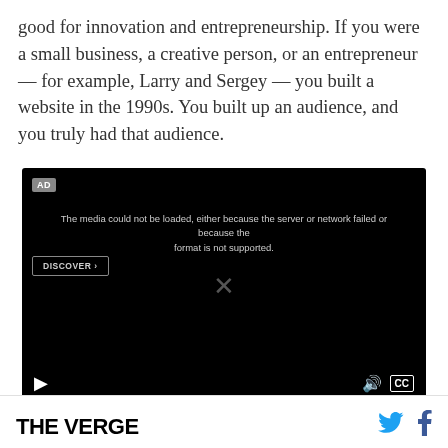good for innovation and entrepreneurship. If you were a small business, a creative person, or an entrepreneur — for example, Larry and Sergey — you built a website in the 1990s. You built up an audience, and you truly had that audience.
[Figure (screenshot): Video player showing an error message: 'The media could not be loaded, either because the server or network failed or because the format is not supported.' with AD label, DISCOVER button, X icon, play button, volume and CC controls on black background.]
THE VERGE